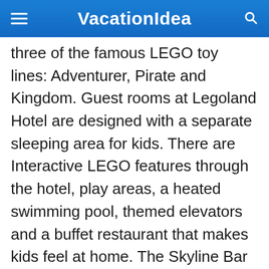VacationIdea
three of the famous LEGO toy lines: Adventurer, Pirate and Kingdom. Guest rooms at Legoland Hotel are designed with a separate sleeping area for kids. There are Interactive LEGO features through the hotel, play areas, a heated swimming pool, themed elevators and a buffet restaurant that makes kids feel at home. The Skyline Bar serves fresh drinks and snacks with a view throughout the day. The atrium has a knight's castle where kids can play on a 32-foot high pirate shipwreck and a river of